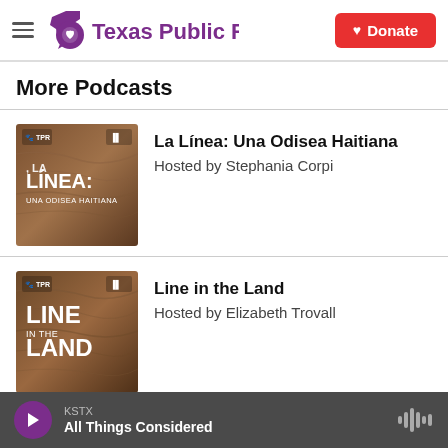Texas Public Radio | Donate
More Podcasts
[Figure (illustration): Podcast cover art for La Línea: Una Odisea Haitiana — earthy brown tones with text overlay]
La Línea: Una Odisea Haitiana
Hosted by Stephania Corpi
[Figure (illustration): Podcast cover art for Line in the Land — earthy brown tones with text overlay]
Line in the Land
Hosted by Elizabeth Trovall
KSTX  All Things Considered